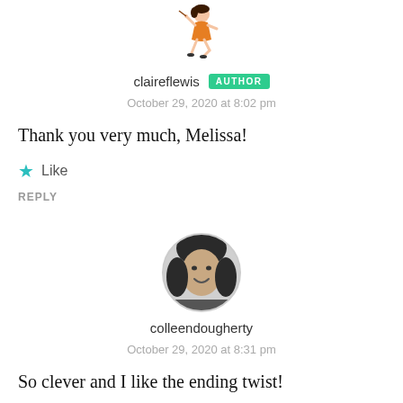[Figure (illustration): Small cartoon illustration of a dancing girl in orange dress at top of page]
claireflewis AUTHOR
October 29, 2020 at 8:02 pm
Thank you very much, Melissa!
★ Like
REPLY
[Figure (photo): Black and white circular photo of a woman smiling]
colleendougherty
October 29, 2020 at 8:31 pm
So clever and I like the ending twist!